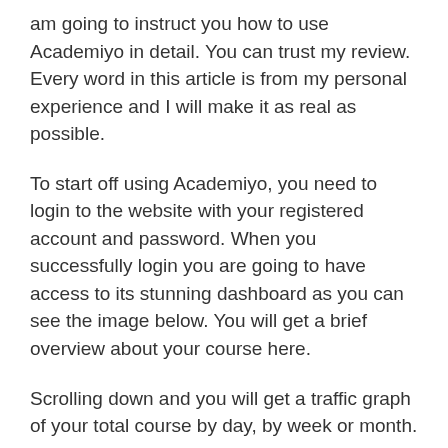am going to instruct you how to use Academiyo in detail. You can trust my review. Every word in this article is from my personal experience and I will make it as real as possible.
To start off using Academiyo, you need to login to the website with your registered account and password. When you successfully login you are going to have access to its stunning dashboard as you can see the image below. You will get a brief overview about your course here.
Scrolling down and you will get a traffic graph of your total course by day, by week or month.
Now, let's get started to add a new course with Academiyo. Here, you will give it a name and add images for your course. You should describe your course so that the audience can get its information